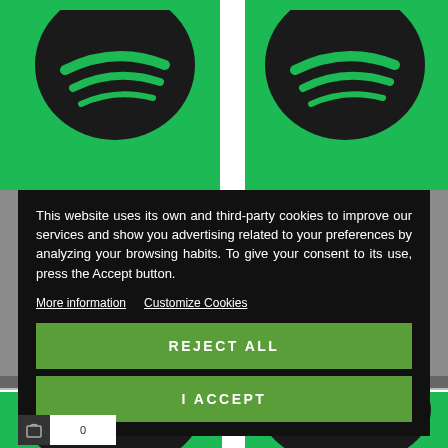[Figure (screenshot): Screenshot of a website (likely Spotify merchandise store) showing a cookie consent dialog overlay. The background shows green product tiles with Spotify logos. The foreground shows a dark modal dialog with cookie consent text, links for 'More information' and 'Customize Cookies', and two green buttons labeled 'REJECT ALL' and 'I ACCEPT'. At the bottom is a small cart widget.]
This website uses its own and third-party cookies to improve our services and show you advertising related to your preferences by analyzing your browsing habits. To give your consent to its use, press the Accept button.
More information  Customize Cookies
REJECT ALL
I ACCEPT